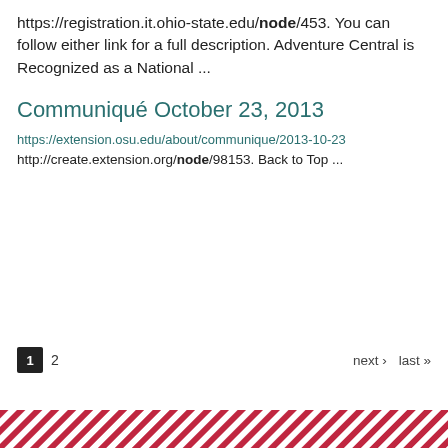https://registration.it.ohio-state.edu/node/453. You can follow either link for a full description. Adventure Central is Recognized as a National ...
Communiqué October 23, 2013
https://extension.osu.edu/about/communique/2013-10-23
http://create.extension.org/node/98153. Back to Top ...
1  2  next ›  last »